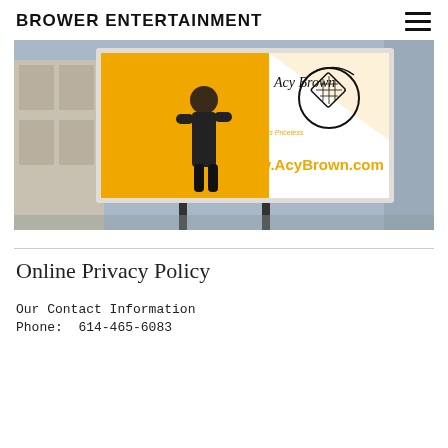BROWER ENTERTAINMENT
[Figure (photo): A billboard advertisement showing Acy Brown with text 'Acy Brown', 'Peace is Priceless', and 'www.AcyBrown.com' on an orange and white background, mounted on a building exterior.]
Online Privacy Policy
Our Contact Information
Phone:  614-465-6083